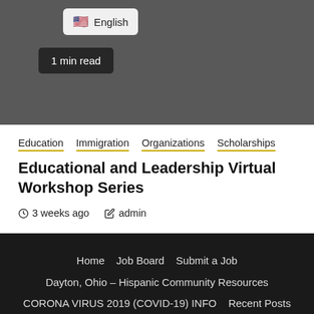[Figure (screenshot): Dark grey top bar with English language selector button and '1 min read' badge]
Education  Immigration  Organizations  Scholarships
Educational and Leadership Virtual Workshop Series
3 weeks ago   admin
Home   Job Board   Submit a Job
Dayton, Ohio – Hispanic Community Resources
CORONA VIRUS 2019 (COVID-19) INFO   Recent Posts
Education   Businesses   Scholarship Resources
Entertainment and Restaurants   Health   Contact Us
Offers / Promotions
Copyright © All rights reserved. | Newsphere by AF th...